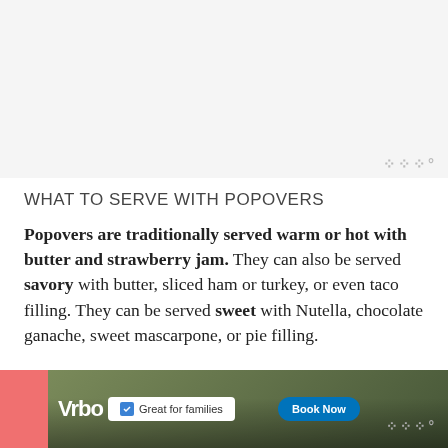[Figure (other): Top banner advertisement area (gray/white background)]
WHAT TO SERVE WITH POPOVERS
Popovers are traditionally served warm or hot with butter and strawberry jam. They can also be served savory with butter, sliced ham or turkey, or even taco filling. They can be served sweet with Nutella, chocolate ganache, sweet mascarpone, or pie filling.
[Figure (screenshot): Bottom advertisement banner for Vrbo showing mountain biking image with 'Great for families' checkbox and 'Book Now' button]